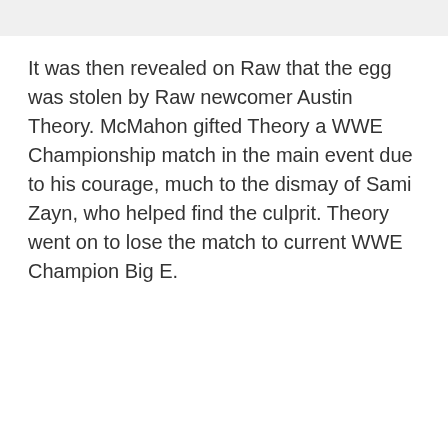It was then revealed on Raw that the egg was stolen by Raw newcomer Austin Theory. McMahon gifted Theory a WWE Championship match in the main event due to his courage, much to the dismay of Sami Zayn, who helped find the culprit. Theory went on to lose the match to current WWE Champion Big E.